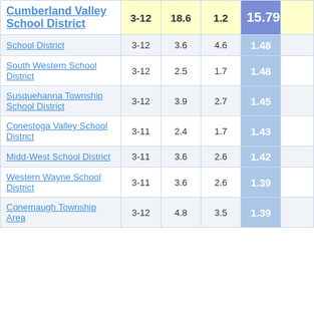| School District | Grades | Col3 | Col4 | Col5 |
| --- | --- | --- | --- | --- |
| Cumberland Valley School District | 3-12 | 18.6 | 1.2 | 15.79 |
| School District | 3-12 | 3.6 | 4.6 | 1.48 |
| South Western School District | 3-12 | 2.5 | 1.7 | 1.48 |
| Susquehanna Township School District | 3-12 | 3.9 | 2.7 | 1.45 |
| Conestoga Valley School District | 3-11 | 2.4 | 1.7 | 1.43 |
| Midd-West School District | 3-11 | 3.6 | 2.6 | 1.42 |
| Western Wayne School District | 3-11 | 3.6 | 2.6 | 1.39 |
| Conemaugh Township Area School District | 3-12 | 4.8 | 3.5 | 1.39 |